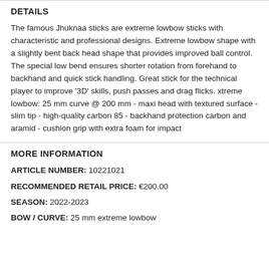DETAILS
The famous Jhuknaa sticks are extreme lowbow sticks with characteristic and professional designs. Extreme lowbow shape with a slightly bent back head shape that provides improved ball control. The special low bend ensures shorter rotation from forehand to backhand and quick stick handling. Great stick for the technical player to improve '3D' skills, push passes and drag flicks. xtreme lowbow: 25 mm curve @ 200 mm - maxi head with textured surface - slim tip - high-quality carbon 85 - backhand protection carbon and aramid - cushion grip with extra foam for impact
MORE INFORMATION
ARTICLE NUMBER: 10221021
RECOMMENDED RETAIL PRICE: €200.00
SEASON: 2022-2023
BOW / CURVE: 25 mm extreme lowbow